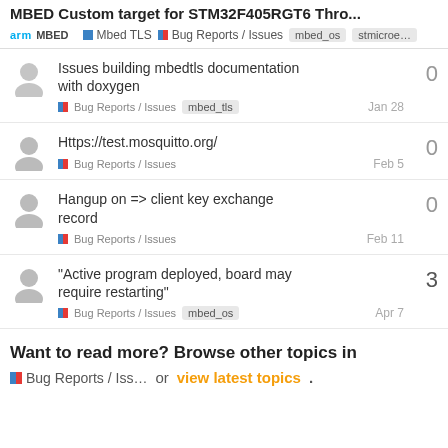MBED Custom target for STM32F405RGT6 Thro...
Issues building mbedtls documentation with doxygen — Bug Reports / Issues, mbed_tls — Jan 28 — 0 replies
Https://test.mosquitto.org/ — Bug Reports / Issues — Feb 5 — 0 replies
Hangup on => client key exchange record — Bug Reports / Issues — Feb 11 — 0 replies
"Active program deployed, board may require restarting" — Bug Reports / Issues, mbed_os — Apr 7 — 3 replies
Want to read more? Browse other topics in
Bug Reports / Iss...  or  view latest topics.